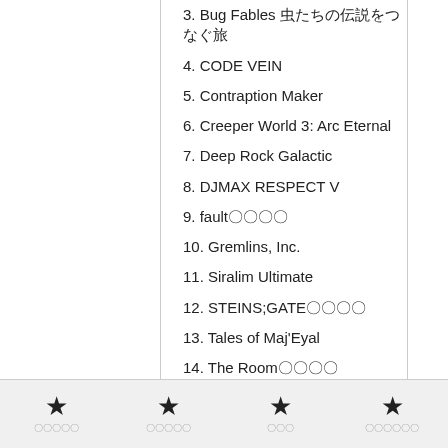3. Bug Fables 虫たちの伝説をつなぐ旅
4. CODE VEIN
5. Contraption Maker
6. Creeper World 3: Arc Eternal
7. Deep Rock Galactic
8. DJMAX RESPECT V
9. fault――――
10. Gremlins, Inc.
11. Siralim Ultimate
12. STEINS;GATE閉時曲線の～
13. Tales of Maj'Eyal
14. The Room四つの秘密
15. WHAT THE GOLF?
16. ゲームタイトル
★ ★ ★ ★